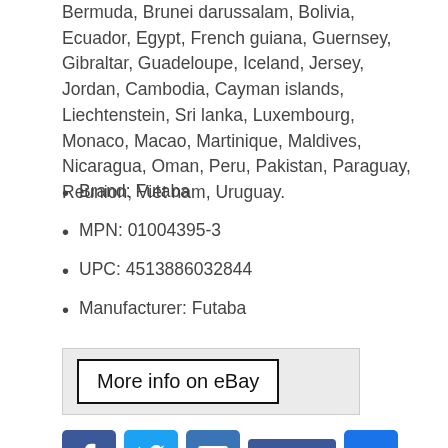Bermuda, Brunei darussalam, Bolivia, Ecuador, Egypt, French guiana, Guernsey, Gibraltar, Guadeloupe, Iceland, Jersey, Jordan, Cambodia, Cayman islands, Liechtenstein, Sri lanka, Luxembourg, Monaco, Macao, Martinique, Maldives, Nicaragua, Oman, Peru, Pakistan, Paraguay, Reunion, Viet nam, Uruguay.
Brand: Futaba
MPN: 01004395-3
UPC: 4513886032844
Manufacturer: Futaba
[Figure (screenshot): Button linking to more info on eBay]
[Figure (infographic): Social sharing buttons: Facebook, Twitter, Email, Like 0, Share+]
Posted in futaba
Tagged 01004395-3, 24ghz, 7-ch, 7pxr, futaba, r334sbs, receiver